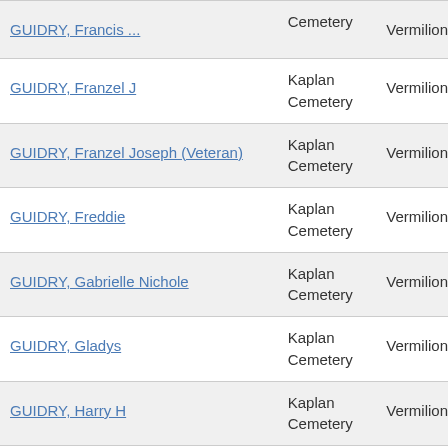| Name | Cemetery | Parish |
| --- | --- | --- |
| GUIDRY, Francis (partial) | Cemetery | Vermilion |
| GUIDRY, Franzel J | Kaplan Cemetery | Vermilion |
| GUIDRY, Franzel Joseph (Veteran) | Kaplan Cemetery | Vermilion |
| GUIDRY, Freddie | Kaplan Cemetery | Vermilion |
| GUIDRY, Gabrielle Nichole | Kaplan Cemetery | Vermilion |
| GUIDRY, Gladys | Kaplan Cemetery | Vermilion |
| GUIDRY, Harry H | Kaplan Cemetery | Vermilion |
| GUIDRY, Hollis, Sr | Kaplan Cemetery | Vermilion |
| GUIDRY, Ima | Kaplan Cemetery | Vermilion |
| (partial) | Kaplan |  |